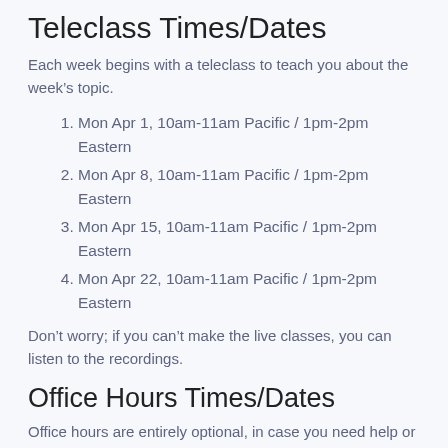Teleclass Times/Dates
Each week begins with a teleclass to teach you about the week's topic.
Mon Apr 1, 10am-11am Pacific / 1pm-2pm Eastern
Mon Apr 8, 10am-11am Pacific / 1pm-2pm Eastern
Mon Apr 15, 10am-11am Pacific / 1pm-2pm Eastern
Mon Apr 22, 10am-11am Pacific / 1pm-2pm Eastern
Don't worry; if you can't make the live classes, you can listen to the recordings.
Office Hours Times/Dates
Office hours are entirely optional, in case you need help or have questions. They're